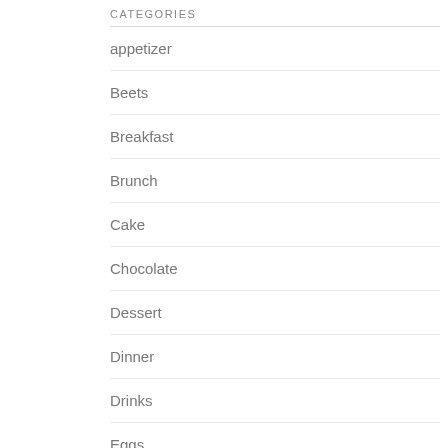CATEGORIES
appetizer
Beets
Breakfast
Brunch
Cake
Chocolate
Dessert
Dinner
Drinks
Eggs